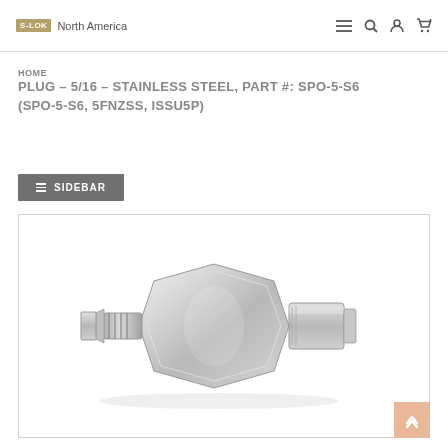S-LOK North America
HOME
PLUG – 5/16 – STAINLESS STEEL, PART #: SPO-5-S6 (SPO-5-S6, 5FNZSS, ISSU5P)
SIDEBAR
[Figure (photo): Stainless steel plug fitting SPO-5-S6, a hexagonal body tube fitting with compression sleeve on one end, photographed on white background]